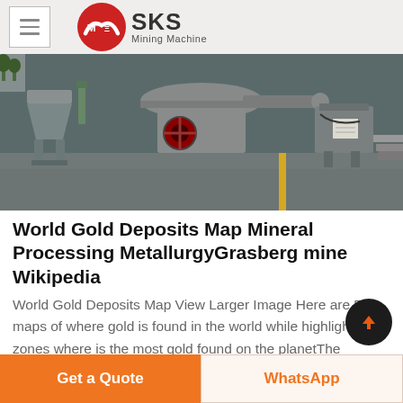SKS Mining Machine
[Figure (photo): Industrial mining machines on a factory floor, large metal processing equipment with arms and wheels on concrete floor]
World Gold Deposits Map Mineral Processing MetallurgyGrasberg mine Wikipedia
World Gold Deposits Map View Larger Image Here are 5 maps of where gold is found in the world while highlights zones where is the most gold found on the planetThe Grasberg mine is the largest gold mine and the second largest copper mine in the world It is located in the